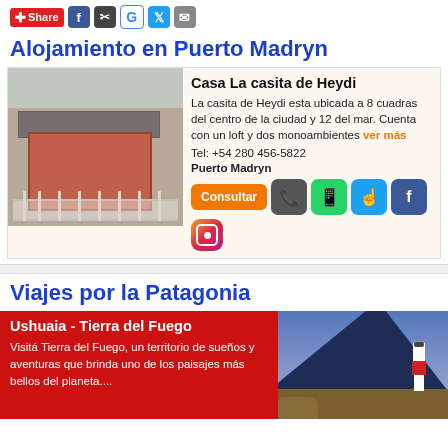Share [social icons: Facebook, Clipboard, Google, Twitter, Mail]
Alojamiento en Puerto Madryn
[Figure (photo): Exterior photo of Casa La casita de Heydi - a brick house with white metal fence gate]
Casa La casita de Heydi
La casita de Heydi esta ubicada a 8 cuadras del centro de la ciudad y 12 del mar. Cuenta con un loft y dos monoambientes ver más
Tel: +54 280 456-5822
Puerto Madryn
Viajes por la Patagonia
[Figure (photo): Red promotional banner with Ushuaia lighthouse and mountain landscape photo]
Ushuaia - Tierra del Fuego
Visitá Tierra del Fuego, un territorio de sueños y aventuras que brinda uno de los paisajes más bellos del planeta....